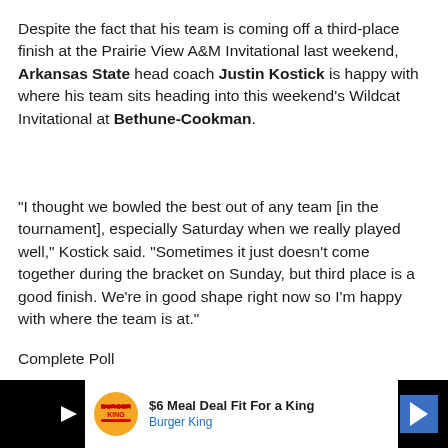Despite the fact that his team is coming off a third-place finish at the Prairie View A&M Invitational last weekend, Arkansas State head coach Justin Kostick is happy with where his team sits heading into this weekend's Wildcat Invitational at Bethune-Cookman.
“I thought we bowled the best out of any team [in the tournament], especially Saturday when we really played well,” Kostick said. "Sometimes it just doesn’t come together during the bracket on Sunday, but third place is a good finish.  We’re in good shape right now so I’m happy with where the team is at.”
Complete Poll
The Red Wolves had three players make the all-tournament
[Figure (other): Burger King advertisement banner: $6 Meal Deal Fit For a King]